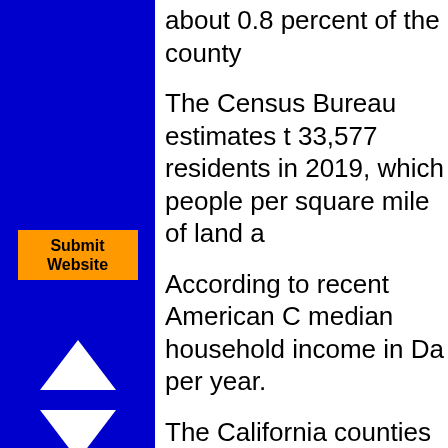about 0.8 percent of the county
[Figure (other): Orange 'Submit Website' button in blue sidebar]
The Census Bureau estimates that 33,577 residents in 2019, which people per square mile of land a
[Figure (other): White upward-pointing triangle arrow in blue sidebar]
[Figure (other): White downward-pointing triangle arrow in blue sidebar]
According to recent American C median household income in Da per year.
The California counties map at County, highlighted in red. Use interactive maps of Dana Point,